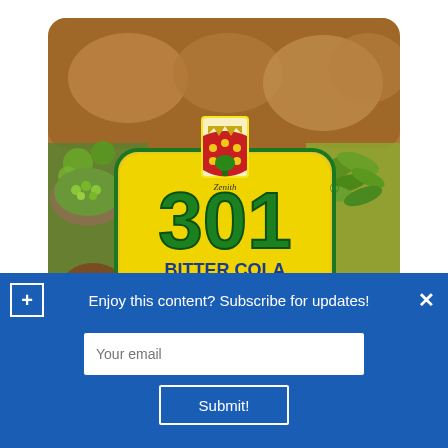[Figure (illustration): 301 Bitter Cola Alcoholic Drink product label by Zenith. Yellow and green label with large '301' text, 'BITTER COLA' in blue/green, 'ALCOHOLIC DRINK' on red banner. Background shows herbs, kola nuts, clay pots. Bottom text: '301 BITTER KOLA DRINK PREPARED FROM PURE AFRICAN HERBS'. Features a heraldic shield logo with crown and tree.]
Enjoy this content? Subscribe for updates!
Your email
Submit!